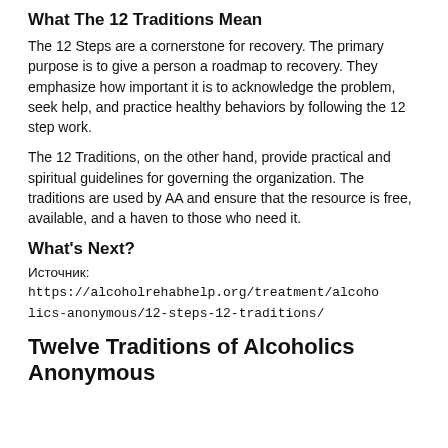What The 12 Traditions Mean
The 12 Steps are a cornerstone for recovery. The primary purpose is to give a person a roadmap to recovery. They emphasize how important it is to acknowledge the problem, seek help, and practice healthy behaviors by following the 12 step work.
The 12 Traditions, on the other hand, provide practical and spiritual guidelines for governing the organization. The traditions are used by AA and ensure that the resource is free, available, and a haven to those who need it.
What's Next?
Источник: https://alcoholrehabhelp.org/treatment/alcoholics-anonymous/12-steps-12-traditions/
Twelve Traditions of Alcoholics Anonymous